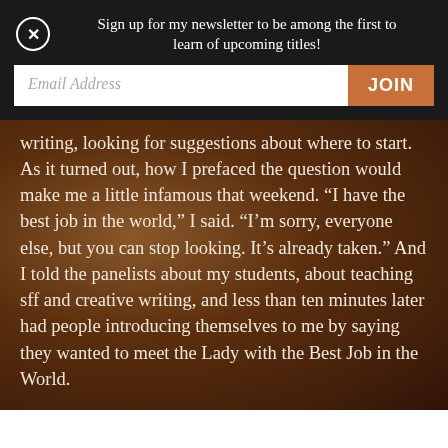Sign up for my newsletter to be among the first to learn of upcoming titles!
Email Address JOIN
writing, looking for suggestions about where to start. As it turned out, how I prefaced the question would make me a little infamous that weekend. “I have the best job in the world,” I said. “I’m sorry, everyone else, but you can stop looking. It’s already taken.” And I told the panelists about my students, about teaching sff and creative writing, and less than ten minutes later had people introducing themselves to me by saying they wanted to meet the Lady with the Best Job in the World.
That title lasted the rest of the weekend: “Oh, hey! You’re the one with the best job in the world, right?